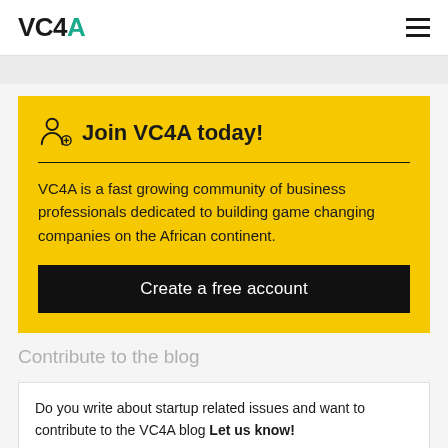VC4A
Join VC4A today!
VC4A is a fast growing community of business professionals dedicated to building game changing companies on the African continent.
Create a free account
Contribute to the blog
Do you write about startup related issues and want to contribute to the VC4A blog Let us know!